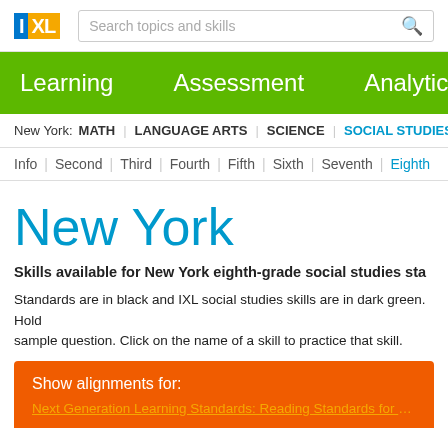[Figure (logo): IXL logo with blue I and yellow XL letters]
Search topics and skills
Learning   Assessment   Analytics
New York:  MATH  |  LANGUAGE ARTS  |  SCIENCE  |  SOCIAL STUDIES
Info  |  Second  |  Third  |  Fourth  |  Fifth  |  Sixth  |  Seventh  |  Eighth
New York
Skills available for New York eighth-grade social studies sta...
Standards are in black and IXL social studies skills are in dark green. Hold... sample question. Click on the name of a skill to practice that skill.
Show alignments for:
Next Generation Learning Standards: Reading Standards for Lite...